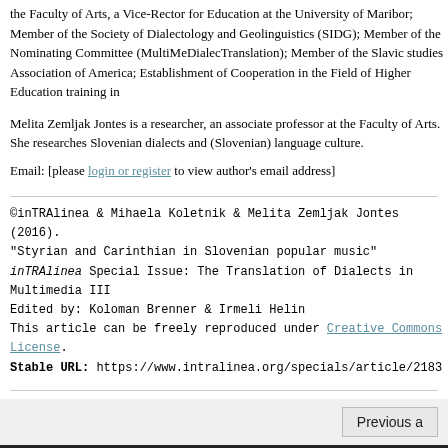the Faculty of Arts, a Vice-Rector for Education at the University of Maribor; Member of the Society of Dialectology and Geolinguistics (SIDG); Member of the Nominating Committee (MultiMeDialecTranslation); Member of the Slavic studies Association of America; Establishment of Cooperation in the Field of Higher Education training in
Melita Zemljak Jontes is a researcher, an associate professor at the Faculty of Arts. She researches Slovenian dialects and (Slovenian) language culture.
Email: [please login or register to view author's email address]
©inTRAlinea & Mihaela Koletnik & Melita Zemljak Jontes (2016).
"Styrian and Carinthian in Slovenian popular music"
inTRAlinea Special Issue: The Translation of Dialects in Multimedia III
Edited by: Koloman Brenner & Irmeli Helin
This article can be freely reproduced under Creative Commons License.
Stable URL: https://www.intralinea.org/specials/article/2183
©inTRAlinea [ISSN 1827-000X]